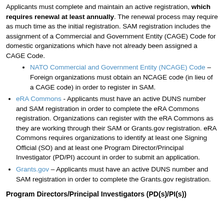Applicants must complete and maintain an active registration, which requires renewal at least annually. The renewal process may require as much time as the initial registration. SAM registration includes the assignment of a Commercial and Government Entity (CAGE) Code for domestic organizations which have not already been assigned a CAGE Code.
NATO Commercial and Government Entity (NCAGE) Code – Foreign organizations must obtain an NCAGE code (in lieu of a CAGE code) in order to register in SAM.
eRA Commons - Applicants must have an active DUNS number and SAM registration in order to complete the eRA Commons registration. Organizations can register with the eRA Commons as they are working through their SAM or Grants.gov registration. eRA Commons requires organizations to identify at least one Signing Official (SO) and at least one Program Director/Principal Investigator (PD/PI) account in order to submit an application.
Grants.gov – Applicants must have an active DUNS number and SAM registration in order to complete the Grants.gov registration.
Program Directors/Principal Investigators (PD(s)/PI(s))